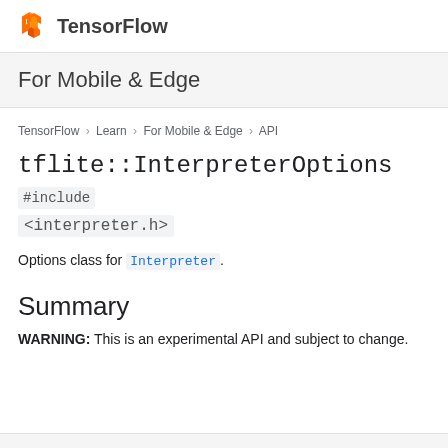TensorFlow
For Mobile & Edge
TensorFlow > Learn > For Mobile & Edge > API
tflite::InterpreterOptions #include <interpreter.h>
Options class for Interpreter.
Summary
WARNING: This is an experimental API and subject to change.